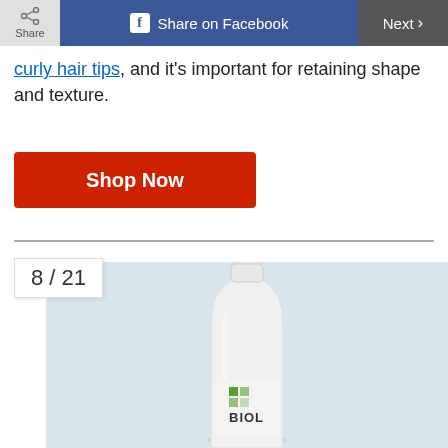Share | Share on Facebook | Next >
curly hair tips, and it's important for retaining shape and texture.
[Figure (other): Red 'Shop Now' call-to-action button]
[Figure (photo): Biolage hair product bottle (white) on a light blue-grey background, showing slide 8 of 21]